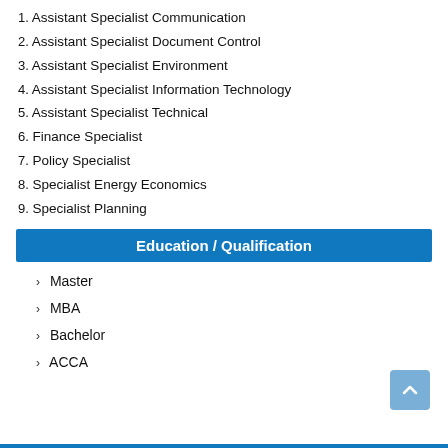1. Assistant Specialist Communication
2. Assistant Specialist Document Control
3. Assistant Specialist Environment
4. Assistant Specialist Information Technology
5. Assistant Specialist Technical
6. Finance Specialist
7. Policy Specialist
8. Specialist Energy Economics
9. Specialist Planning
Education / Qualification
Master
MBA
Bachelor
ACCA